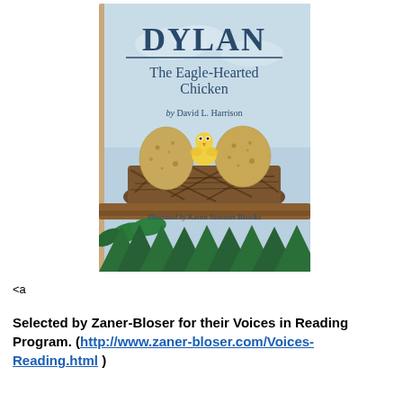[Figure (illustration): Book cover for 'DYLAN The Eagle-Hearted Chicken' by David L. Harrison, illustrated by Karen Stormer Brooks. Shows a small yellow chick peeking out from between large speckled eggs in a nest made of twigs, set against a light blue sky background, with green treetops at the bottom.]
<a
Selected by Zaner-Bloser for their Voices in Reading Program. (http://www.zaner-bloser.com/Voices-Reading.html )